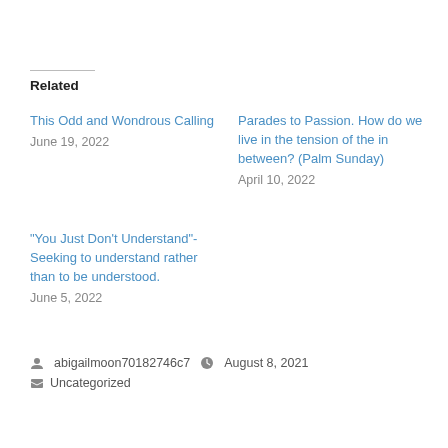Related
This Odd and Wondrous Calling
June 19, 2022
Parades to Passion. How do we live in the tension of the in between? (Palm Sunday)
April 10, 2022
“You Just Don’t Understand”- Seeking to understand rather than to be understood.
June 5, 2022
abigailmoon70182746c7  August 8, 2021  Uncategorized